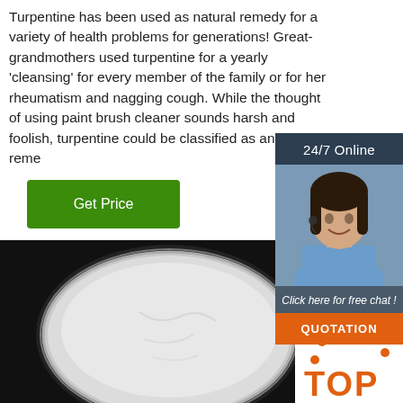Turpentine has been used as natural remedy for a variety of health problems for generations! Great-grandmothers used turpentine for a yearly 'cleansing' for every member of the family or for her rheumatism and nagging cough. While the thought of using paint brush cleaner sounds harsh and foolish, turpentine could be classified as an herbal reme...
[Figure (other): Green 'Get Price' button]
[Figure (other): 24/7 online chat widget with agent photo, 'Click here for free chat!' text, and orange QUOTATION button]
[Figure (photo): Black background with white powder in a circular petri dish or container]
[Figure (logo): Orange TOP badge/logo in bottom right corner]